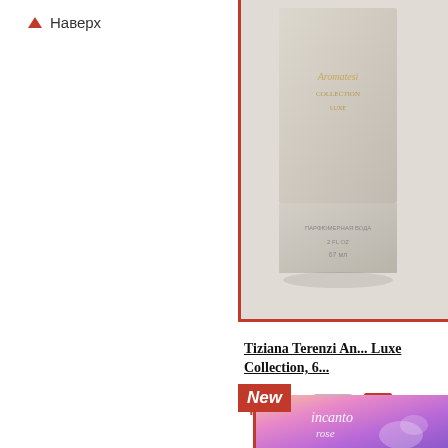▲ Наверх
[Figure (photo): Tiziana Terenzi perfume box in beige/gray color with gold brand text, product image for luxury collection]
Tiziana Terenzi An... Luxe Collection, 6...
475 р
[Figure (photo): Incanto perfume box with colorful gradient (peach, pink, purple) background and 'incanto rose' text, New badge shown]
New